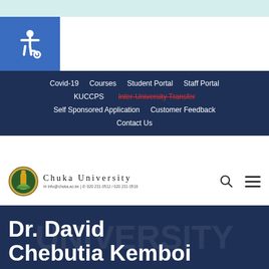[Figure (screenshot): Light teal top bar strip]
[Figure (logo): Blue accessibility icon (wheelchair symbol) on blue square background]
Covid-19   Courses   Student Portal   Staff Portal   KUCCPS   Inter-University Transfer   Self Sponsored Application   Customer Feedback   Contact Us
[Figure (logo): Chuka University logo with crest and text: Chuka University, info@chuka.ac.ke | 020 231 0512 / 020 231 0518]
Dr. David Chebutia Kemboi